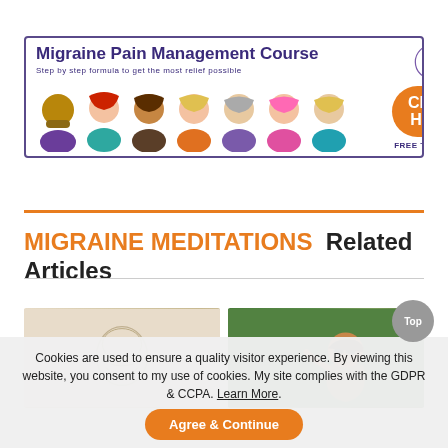[Figure (illustration): Advertisement banner for Migraine Pain Management Course with colorful cartoon avatars and a 'CLICK HERE' button, purple border, brain logo, 'Step by step formula to get the most relief possible', 'FREE TO ENROLL']
MIGRAINE MEDITATIONS  Related Articles
[Figure (illustration): Sketch/drawing of a person with a migraine, beige background]
[Figure (photo): Photo of a woman wearing sunglasses relaxing outdoors on grass]
Cookies are used to ensure a quality visitor experience. By viewing this website, you consent to my use of cookies. My site complies with the GDPR & CCPA. Learn More.
Agree & Continue